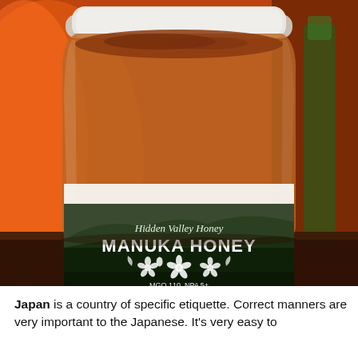[Figure (photo): A glass jar of Hidden Valley Honey Manuka Honey, labeled with MGO 110, NPA 5+, Waiheke Island, 250g, sitting on a dark surface with an orange-lit background and a green bottle visible on the right.]
Japan is a country of specific etiquette. Correct manners are very important to the Japanese. It's very easy to